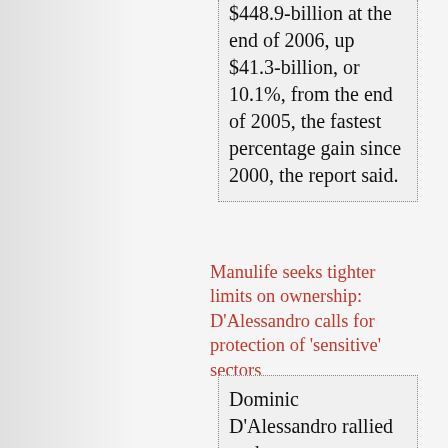$448.9-billion at the end of 2006, up $41.3-billion, or 10.1%, from the end of 2005, the fastest percentage gain since 2000, the report said.
Manulife seeks tighter limits on ownership: D'Alessandro calls for protection of 'sensitive' sectors
Dominic D'Alessandro rallied to the